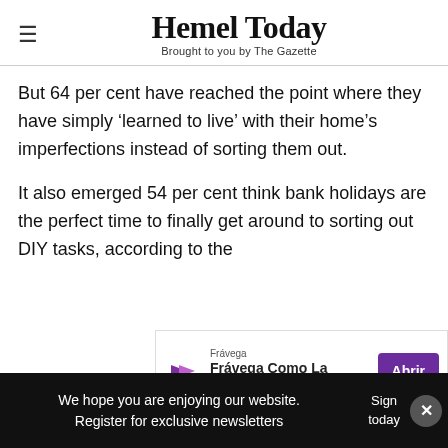Hemel Today — Brought to you by The Gazette
But 64 per cent have reached the point where they have simply ‘learned to live’ with their home’s imperfections instead of sorting them out.
It also emerged 54 per cent think bank holidays are the perfect time to finally get around to sorting out DIY tasks, according to the OneF[...]
[Figure (screenshot): Advertisement banner for Frávega: 'Frávega Como La Familia' with purple Abrir button]
More than half (55 per cent) feel a deep sense of
We hope you are enjoying our website. Register for exclusive newsletters | Sign [up] today